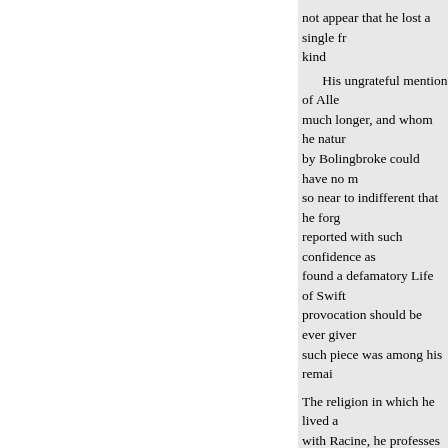not appear that he lost a single fr kind
His ungrateful mention of Alle much longer, and whom he natur by Bolingbroke could have no m so near to indifferent that he forg reported with such confidence as found a defamatory Life of Swift provocation should be ever giver such piece was among his remai
The religion in which he lived a with Racine, he professes himsel life is known by many idle and i merriment which a good man dre vulgarity. But to what ever leviti corrupted, or that he ever lost his he seems not to have understood
A man of such exalted superio observed and aggravated ; those not perfect. Perhaps it may be im
« Previous